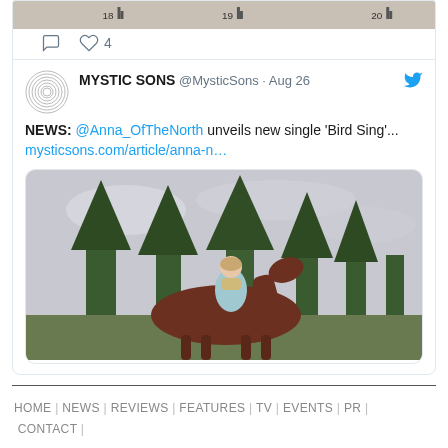[Figure (screenshot): Top strip showing partial tweet images with numbers 18, 19, 20]
comment icon  ♡ 4
[Figure (screenshot): Tweet card: MYSTIC SONS @MysticSons · Aug 26. NEWS: @Anna_OfTheNorth unveils new single 'Bird Sing'... mysticsons.com/article/anna-n...]
[Figure (photo): Photo of a woman riding a brown horse with green trees in background]
HOME | NEWS | REVIEWS | FEATURES | TV | EVENTS | PR | CONTACT |
Mystic Sons, First Floor, Creative Works, 7 Blackhorse Lane, London E17 6DS